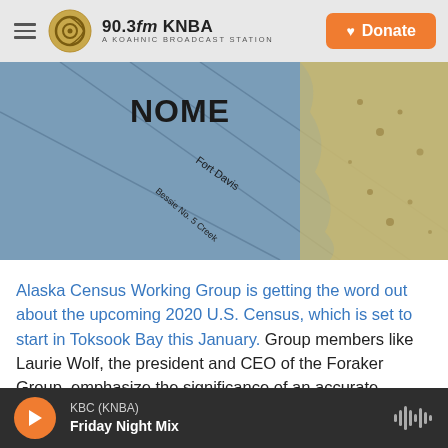90.3fm KNBA — A KOAHNIC BROADCAST STATION
[Figure (photo): Close-up photograph of a vintage map showing Nome, Alaska region with Fort Davis, Bessie No. 5 Creek labels visible]
Alaska Census Working Group is getting the word out about the upcoming 2020 U.S. Census, which is set to start in Toksook Bay this January. Group members like Laurie Wolf, the president and CEO of the Foraker Group, emphasize the significance of an accurate census count for Alaska.
KBC (KNBA) — Friday Night Mix